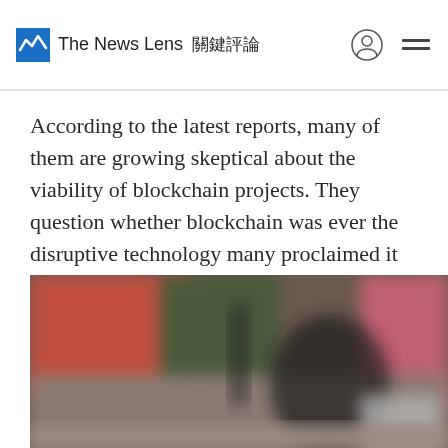The News Lens 關鍵評論
According to the latest reports, many of them are growing skeptical about the viability of blockchain projects. They question whether blockchain was ever the disruptive technology many proclaimed it to be.
[Figure (photo): Blurred photograph of a person sitting at a desk or workstation, with colorful blurred background in reds and greens.]